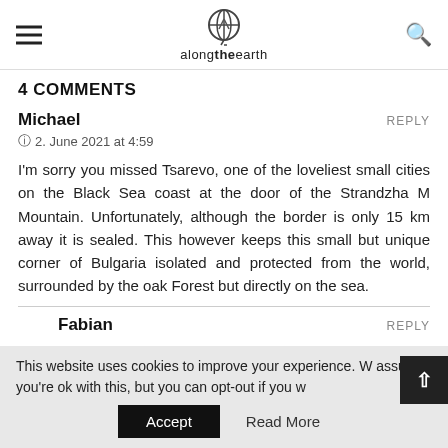alongtheearth
4 COMMENTS
Michael
2. June 2021 at 4:59
I'm sorry you missed Tsarevo, one of the loveliest small cities on the Black Sea coast at the door of the Strandzha M Mountain. Unfortunately, although the border is only 15 km away it is sealed. This however keeps this small but unique corner of Bulgaria isolated and protected from the world, surrounded by the oak Forest but directly on the sea.
Fabian
This website uses cookies to improve your experience. W assume you're ok with this, but you can opt-out if you w